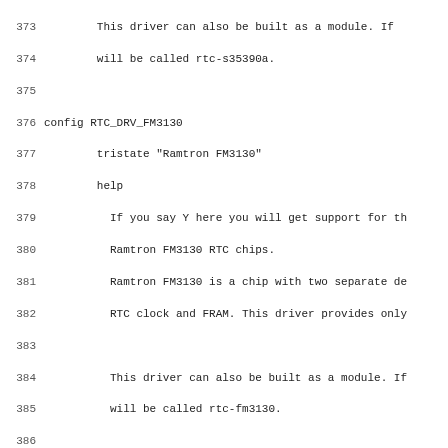373-404: Linux kernel Kconfig source code snippet for RTC drivers (RTC_DRV_FM3130, RTC_DRV_RX8581, RTC_DRV_RX8025, RTC_DRV_EM3027)